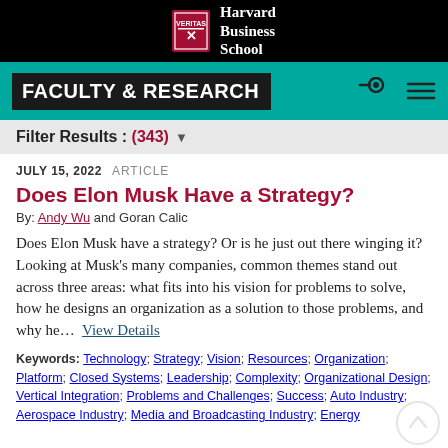Harvard Business School
FACULTY & RESEARCH
Filter Results : (343)
JULY 15, 2022  ARTICLE
Does Elon Musk Have a Strategy?
By: Andy Wu and Goran Calic
Does Elon Musk have a strategy? Or is he just out there winging it? Looking at Musk's many companies, common themes stand out across three areas: what fits into his vision for problems to solve, how he designs an organization as a solution to those problems, and why he…  View Details
Keywords: Technology; Strategy; Vision; Resources; Organization; Platform; Closed Systems; Leadership; Complexity; Organizational Design; Vertical Integration; Problems and Challenges; Success; Auto Industry; Aerospace Industry; Media and Broadcasting Industry; Energy